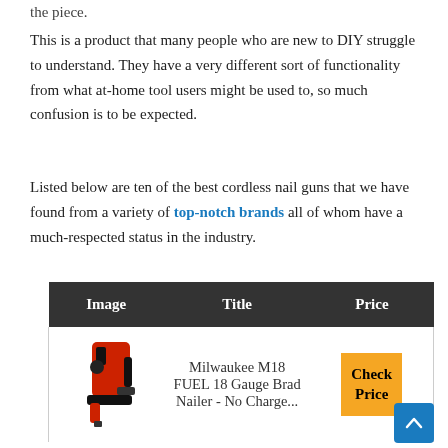the piece.
This is a product that many people who are new to DIY struggle to understand. They have a very different sort of functionality from what at-home tool users might be used to, so much confusion is to be expected.
Listed below are ten of the best cordless nail guns that we have found from a variety of top-notch brands all of whom have a much-respected status in the industry.
| Image | Title | Price |
| --- | --- | --- |
| [Milwaukee M18 FUEL nail gun image] | Milwaukee M18 FUEL 18 Gauge Brad Nailer - No Charge... | Check Price |